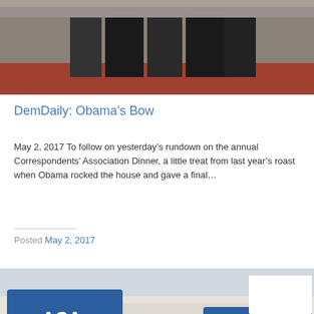[Figure (photo): Partial photo of people in formal attire standing on a red carpet, cropped at top of page]
DemDaily: Obama’s Bow
May 2, 2017 To follow on yesterday’s rundown on the annual Correspondents’ Association Dinner, a little treat from last year’s roast when Obama rocked the house and gave a final…
Posted May 2, 2017
[Figure (photo): Crowd of protesters holding blue and white signs reading 'ACA IS HERE TO STAY' in front of what appears to be the Supreme Court building]